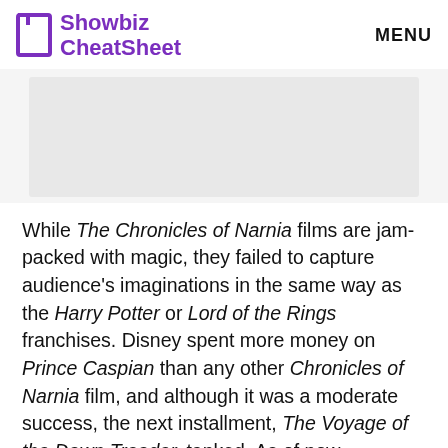Showbiz CheatSheet  MENU
[Figure (photo): Gray placeholder image area]
While The Chronicles of Narnia films are jam-packed with magic, they failed to capture audience's imaginations in the same way as the Harry Potter or Lord of the Rings franchises. Disney spent more money on Prince Caspian than any other Chronicles of Narnia film, and although it was a moderate success, the next installment, The Voyage of the Dawn Treader, tanked. As of now, production for film